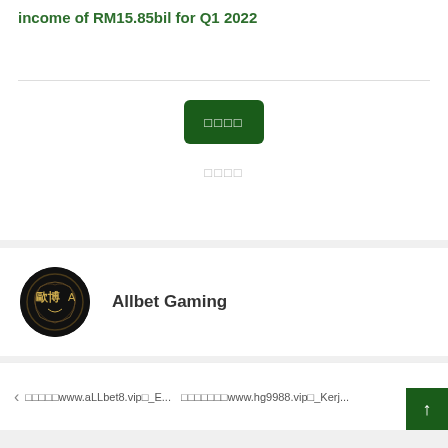income of RM15.85bil for Q1 2022
[Figure (other): Green button with Chinese/placeholder characters]
□□□□
[Figure (logo): Allbet Gaming circular logo with dragon motif on black background]
Allbet Gaming
◁ □□□□□www.aLLbet8.vip□_E...   □□□□□□□www.hg9988.vip□_Kerj...